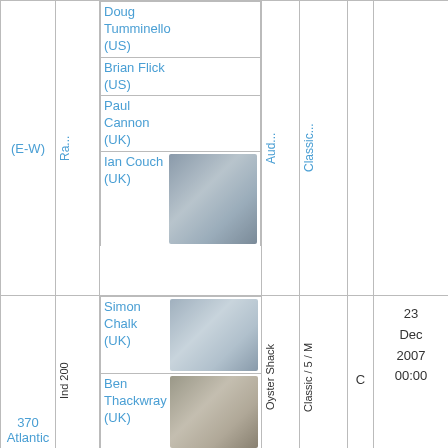| ID | Ra... | Names | Aud... | Classic... | C | Date |
| --- | --- | --- | --- | --- | --- | --- |
| (E-W) | Ra... | Doug Tumminello (US) / Brian Flick (US) / Paul Cannon (UK) / Ian Couch (UK) | Aud... | Classic... |  |  |
| 370 Atlantic (E-W) | Ind 200 | Simon Chalk (UK) / Ben Thackwray (UK) / Mike Martin (UK) | Oyster Shack | Classic / 5 / M | C | 23 Dec 2007 00:00 |